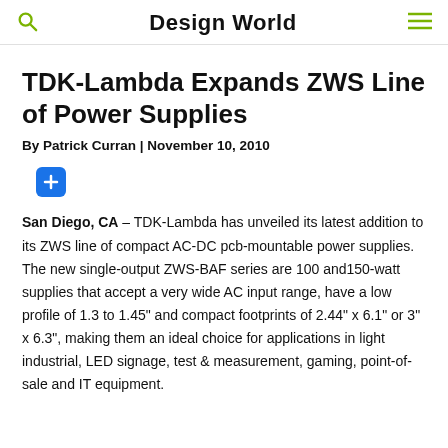Design World
TDK-Lambda Expands ZWS Line of Power Supplies
By Patrick Curran | November 10, 2010
San Diego, CA – TDK-Lambda has unveiled its latest addition to its ZWS line of compact AC-DC pcb-mountable power supplies. The new single-output ZWS-BAF series are 100 and150-watt supplies that accept a very wide AC input range, have a low profile of 1.3 to 1.45" and compact footprints of 2.44" x 6.1" or 3" x 6.3", making them an ideal choice for applications in light industrial, LED signage, test & measurement, gaming, point-of-sale and IT equipment.